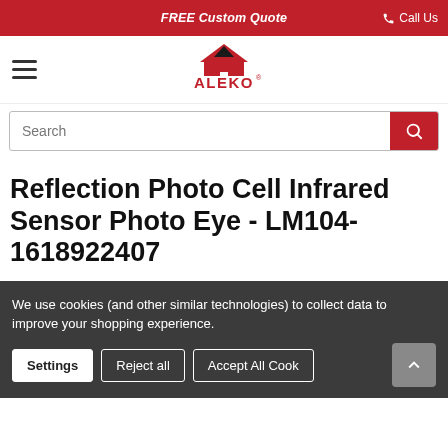FREE Custom Quote  |  Call Us
[Figure (logo): ALEKO logo with red house/roof icon and ALEKO text in red]
Search
Reflection Photo Cell Infrared Sensor Photo Eye - LM104-1618922407
We use cookies (and other similar technologies) to collect data to improve your shopping experience.
Settings  Reject all  Accept All Cookies